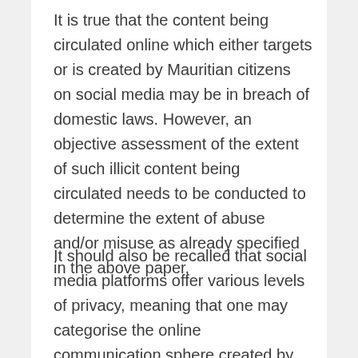It is true that the content being circulated online which either targets or is created by Mauritian citizens on social media may be in breach of domestic laws. However, an objective assessment of the extent of such illicit content being circulated needs to be conducted to determine the extent of abuse and/or misuse as already specified in the above paper,
It should also be recalled that social media platforms offer various levels of privacy, meaning that one may categorise the online communication sphere created by these into multiple sub-categories, which can tentatively be broadly listed as follows: